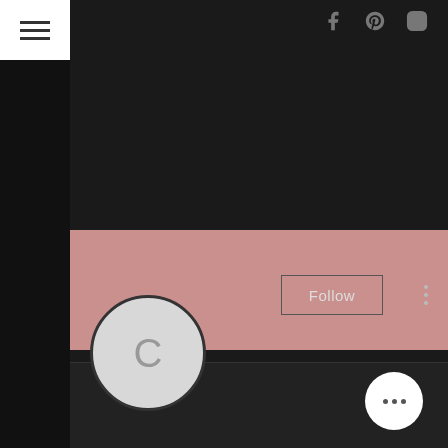[Figure (screenshot): Social media profile page screenshot on dark background. Top navigation bar with hamburger menu (white box) on left, Facebook, Pinterest, and Instagram icons on right in gray. Pink banner header below dark section. Circular profile avatar with letter C. Follow button with border. Three vertical dots menu. Profile name 'Clenbuterol hcl, crazy bulk or...' and '0 Followers • 0 Following' stats. Bottom dark bar with white circular button containing three dots.]